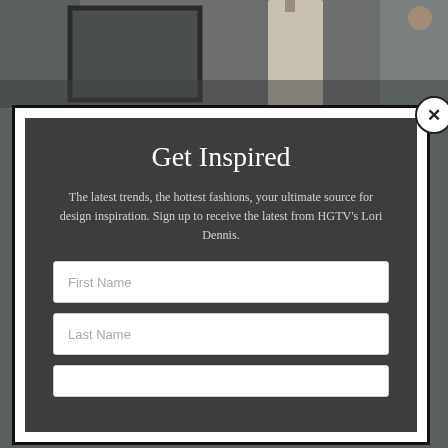[Figure (screenshot): Background photo of a room interior with grey walls, a white dress hanging on a hook, and a framed mirror. Partially visible behind a modal popup overlay.]
Get Inspired
The latest trends, the hottest fashions, your ultimate source for design inspiration. Sign up to receive the latest from HGTV's Lori Dennis.
First Name
Last Name